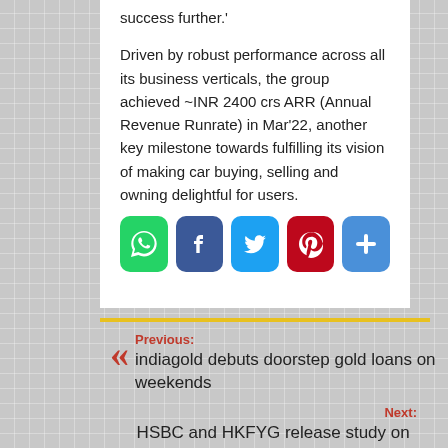success further.'
Driven by robust performance across all its business verticals, the group achieved ~INR 2400 crs ARR (Annual Revenue Runrate) in Mar'22, another key milestone towards fulfilling its vision of making car buying, selling and owning delightful for users.
[Figure (infographic): Social share buttons: WhatsApp (green), Facebook (dark blue), Twitter (light blue), Pinterest (red), Plus/More (blue)]
Previous: indiagold debuts doorstep gold loans on weekends
Next: HSBC and HKFYG release study on Hong Kong youth's competitiveness in the GBA Professional ethics tops